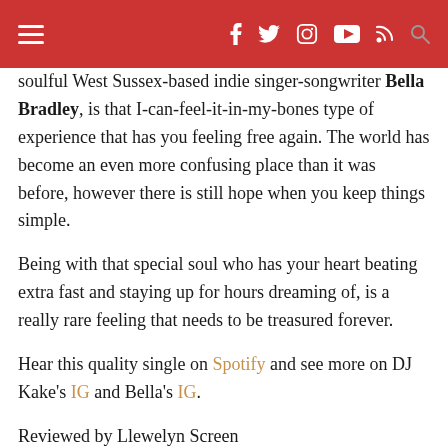≡  f  twitter  instagram  youtube  rss  🔍
soulful West Sussex-based indie singer-songwriter Bella Bradley, is that I-can-feel-it-in-my-bones type of experience that has you feeling free again. The world has become an even more confusing place than it was before, however there is still hope when you keep things simple.

Being with that special soul who has your heart beating extra fast and staying up for hours dreaming of, is a really rare feeling that needs to be treasured forever.

Hear this quality single on Spotify and see more on DJ Kake's IG and Bella's IG.

Reviewed by Llewelyn Screen